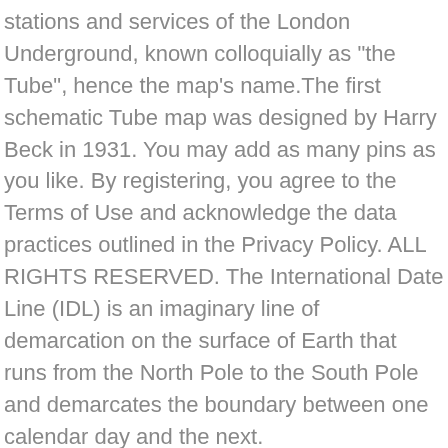stations and services of the London Underground, known colloquially as "the Tube", hence the map's name.The first schematic Tube map was designed by Harry Beck in 1931. You may add as many pins as you like. By registering, you agree to the Terms of Use and acknowledge the data practices outlined in the Privacy Policy. ALL RIGHTS RESERVED. The International Date Line (IDL) is an imaginary line of demarcation on the surface of Earth that runs from the North Pole to the South Pole and demarcates the boundary between one calendar day and the next. IMG_20170909_140706.jpg IMG_201...jpg. When you subscribe we will use the information you provide to send you these newsletters. Learn how to create your own. The map below shows data about life expectancy per country in 2015 and it took me around the 30 seconds to make it (hover over to see that data per country): Creating a Material Line Chart is similar to creating what we'll now call a "Classic" Line Chart. Improve this question. asked Sep 18 '16 at 13:35. Technically itâs not really a map but a